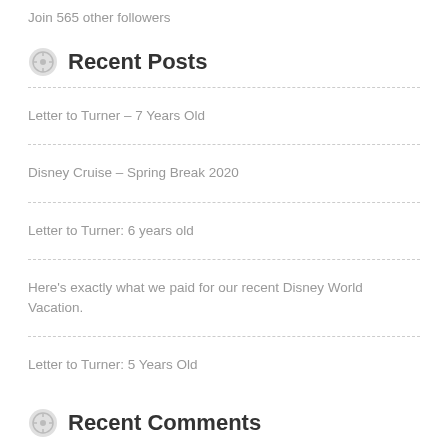Join 565 other followers
Recent Posts
Letter to Turner – 7 Years Old
Disney Cruise – Spring Break 2020
Letter to Turner: 6 years old
Here's exactly what we paid for our recent Disney World Vacation.
Letter to Turner: 5 Years Old
Recent Comments
Claudia on Adult Tonsillectomy Recovery...